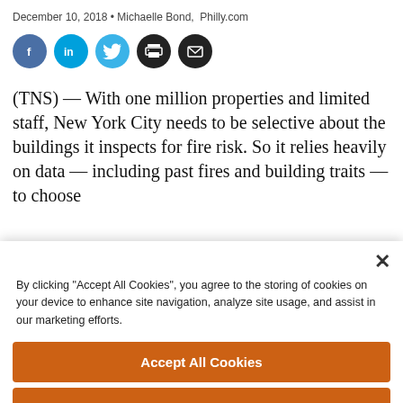December 10, 2018 • Michaelle Bond,  Philly.com
[Figure (other): Social sharing icons: Facebook (blue circle), LinkedIn (cyan circle), Twitter (cyan circle), Print (black circle), Email (black circle)]
(TNS) — With one million properties and limited staff, New York City needs to be selective about the buildings it inspects for fire risk. So it relies heavily on data — including past fires and building traits — to choose
By clicking "Accept All Cookies", you agree to the storing of cookies on your device to enhance site navigation, analyze site usage, and assist in our marketing efforts.
Accept All Cookies
Reject All
Cookies Settings